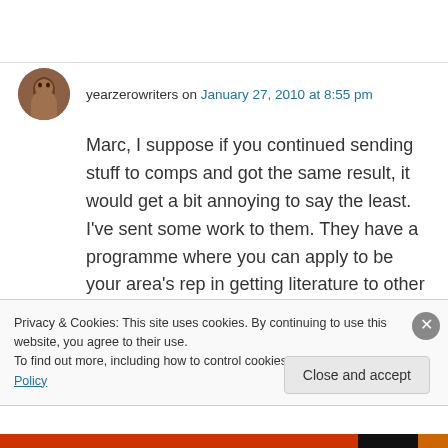yearzerowriters on January 27, 2010 at 8:55 pm
Marc, I suppose if you continued sending stuff to comps and got the same result, it would get a bit annoying to say the least. I've sent some work to them. They have a programme where you can apply to be your area's rep in getting literature to other people. I would've applied now that I'm rubber stamped 'editor' of a mag, but I'm not
Privacy & Cookies: This site uses cookies. By continuing to use this website, you agree to their use.
To find out more, including how to control cookies, see here: Cookie Policy
Close and accept